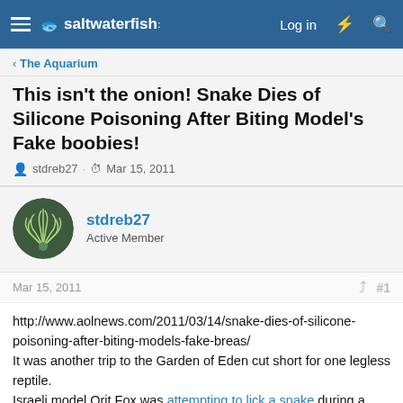saltwaterfish | Log in
< The Aquarium
This isn't the onion! Snake Dies of Silicone Poisoning After Biting Model's Fake boobies!
stdreb27 · Mar 15, 2011
stdreb27
Active Member
Mar 15, 2011  #1
http://www.aolnews.com/2011/03/14/snake-dies-of-silicone-poisoning-after-biting-models-fake-breas/
It was another trip to the Garden of Eden cut short for one legless reptile.
Israeli model Orit Fox was attempting to lick a snake during a publicity stunt for radio DJ Shmulik Tayar when the lucky serpent, presumably aroused, lunged forward and bit Fox's fake